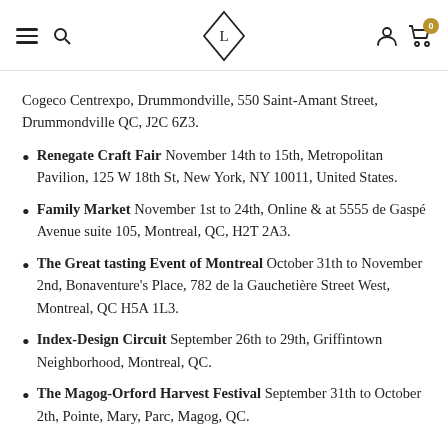Navigation header with hamburger menu, search icon, diamond L logo, user icon, and cart with 0 items
Cogeco Centrexpo, Drummondville, 550 Saint-Amant Street, Drummondville QC, J2C 6Z3.
Renegate Craft Fair November 14th to 15th, Metropolitan Pavilion, 125 W 18th St, New York, NY 10011, United States.
Family Market November 1st to 24th, Online & at 5555 de Gaspé Avenue suite 105, Montreal, QC, H2T 2A3.
The Great tasting Event of Montreal October 31th to November 2nd, Bonaventure's Place, 782 de la Gauchetière Street West, Montreal, QC H5A 1L3.
Index-Design Circuit September 26th to 29th, Griffintown Neighborhood, Montreal, QC.
The Magog-Orford Harvest Festival September 31th to October 2th, Pointe, Mary, Parc, Magog, QC.